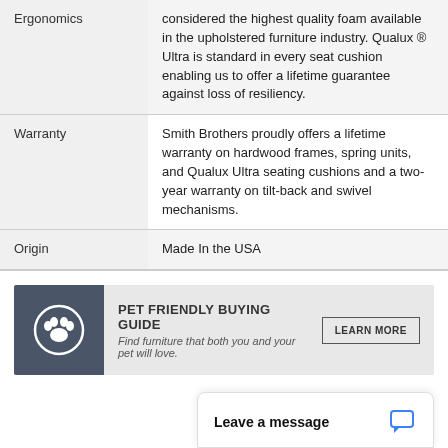| Category | Description |
| --- | --- |
| Ergonomics | considered the highest quality foam available in the upholstered furniture industry. Qualux ® Ultra is standard in every seat cushion enabling us to offer a lifetime guarantee against loss of resiliency. |
| Warranty | Smith Brothers proudly offers a lifetime warranty on hardwood frames, spring units, and Qualux Ultra seating cushions and a two-year warranty on tilt-back and swivel mechanisms. |
| Origin | Made In the USA |
[Figure (infographic): Pet Friendly Buying Guide banner with paw print icon, text 'Find furniture that both you and your pet will love.' and a LEARN MORE button]
Leave a message